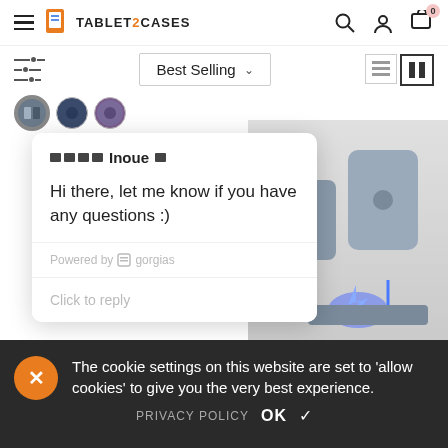TABLET2CASES — navigation header with hamburger menu, logo, search, account, and cart (0 items)
Best Selling (sort dropdown)
[Figure (screenshot): Three color swatch circles for product color selection]
[Figure (screenshot): Chat popup from Inoue: Hi there, let me know if you have any questions :) — Powered by gorgias — Click to reply]
[Figure (photo): Product photo showing gray tablet cases/charging stand with blue lightning bolt glow]
The cookie settings on this website are set to 'allow cookies' to give you the very best experience.
PRIVACY POLICY   OK ✓